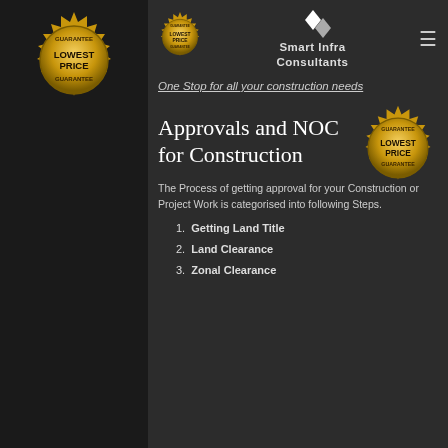[Figure (logo): Lowest Price Guarantee gold badge seal on dark left sidebar]
[Figure (logo): Smart Infra Consultants logo with diamond icon and brand name]
One Stop for all your construction needs
Approvals and NOC for Construction
[Figure (logo): Lowest Price Guarantee gold badge seal]
The Process of getting approval for your Construction or Project Work is categorised into following Steps.
1. Getting Land Title
2. Land Clearance
3. Zonal Clearance